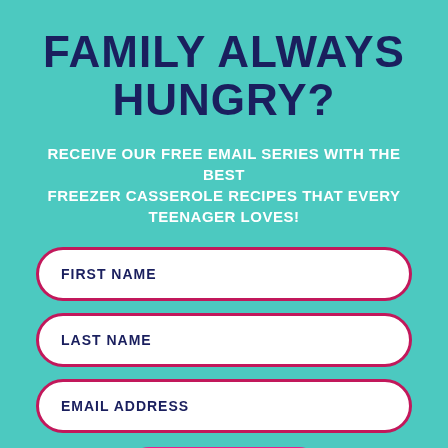FAMILY ALWAYS HUNGRY?
RECEIVE OUR FREE EMAIL SERIES WITH THE BEST FREEZER CASSEROLE RECIPES THAT EVERY TEENAGER LOVES!
FIRST NAME
LAST NAME
EMAIL ADDRESS
SUBSCRIBE